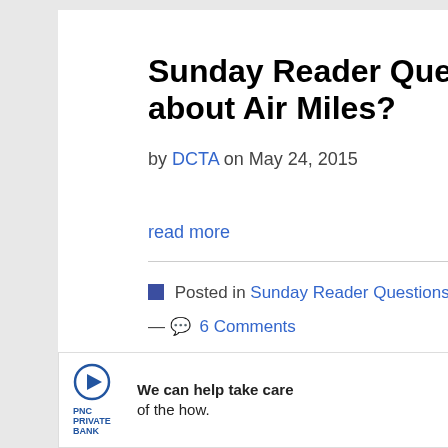Sunday Reader Question: Why don't you talk about Air Miles?
by DCTA on May 24, 2015
read more
Posted in Sunday Reader Questions — 6 Comments
[Figure (infographic): PNC Private Bank advertisement banner: 'We can help take care of the how.' with a Learn More button, play icon logo, and close X button]